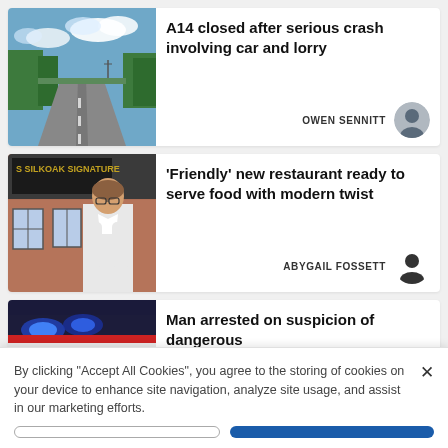[Figure (photo): Empty dual-carriageway road with trees and blue sky]
A14 closed after serious crash involving car and lorry
OWEN SENNITT
[Figure (photo): Woman in white chef coat standing outside a restaurant named Silkoak Signature]
'Friendly' new restaurant ready to serve food with modern twist
ABYGAIL FOSSETT
[Figure (photo): Emergency vehicle with blue lights partially visible]
Man arrested on suspicion of dangerous
By clicking "Accept All Cookies", you agree to the storing of cookies on your device to enhance site navigation, analyze site usage, and assist in our marketing efforts.